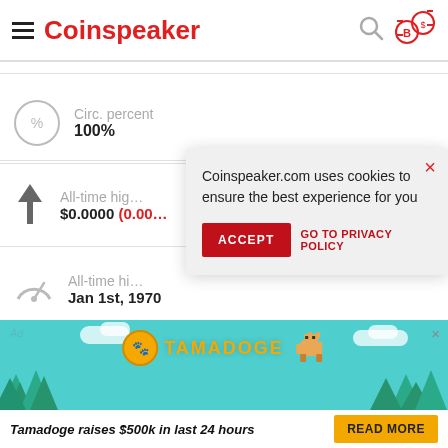Coinspeaker
Circ. percent
100%
All-time high
$0.0000 (0.00
All-time high
Jan 1st, 1970
Coinspeaker.com uses cookies to ensure the best experience for you
ACCEPT
GO TO PRIVACY POLICY
[Figure (screenshot): Tamadoge ad banner with teal background, pixel-art dog, trees, and Tamadoge logo]
Tamadoge raises $500k in last 24 hours
READ MORE